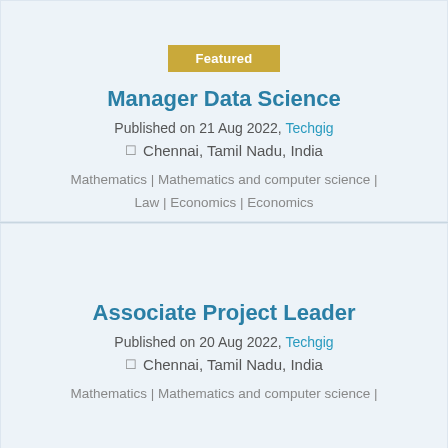Featured
Manager Data Science
Published on 21 Aug 2022, Techgig
Chennai, Tamil Nadu, India
Mathematics | Mathematics and computer science | Law | Economics | Economics
Associate Project Leader
Published on 20 Aug 2022, Techgig
Chennai, Tamil Nadu, India
Mathematics | Mathematics and computer science |